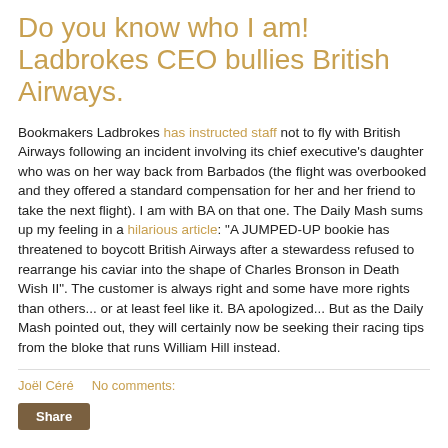Do you know who I am! Ladbrokes CEO bullies British Airways.
Bookmakers Ladbrokes has instructed staff not to fly with British Airways following an incident involving its chief executive's daughter who was on her way back from Barbados (the flight was overbooked and they offered a standard compensation for her and her friend to take the next flight). I am with BA on that one. The Daily Mash sums up my feeling in a hilarious article: "A JUMPED-UP bookie has threatened to boycott British Airways after a stewardess refused to rearrange his caviar into the shape of Charles Bronson in Death Wish II". The customer is always right and some have more rights than others... or at least feel like it. BA apologized... But as the Daily Mash pointed out, they will certainly now be seeking their racing tips from the bloke that runs William Hill instead.
Joël Céré   No comments: